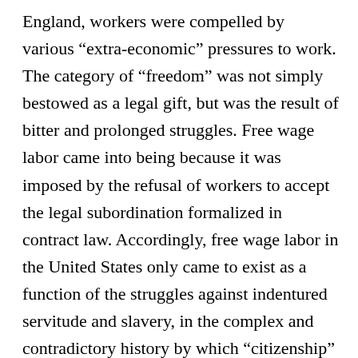England, workers were compelled by various “extra-economic” pressures to work. The category of “freedom” was not simply bestowed as a legal gift, but was the result of bitter and prolonged struggles. Free wage labor came into being because it was imposed by the refusal of workers to accept the legal subordination formalized in contract law. Accordingly, free wage labor in the United States only came to exist as a function of the struggles against indentured servitude and slavery, in the complex and contradictory history by which “citizenship” came to be formed. In other words, citizenship itself is part of the history of the formation of racial categories and their intermingling with the exploitation of labor. Yet Lilla’s only mention of the politics of immigration and refugees is confined to one huffy footnote. “I will not be discussing